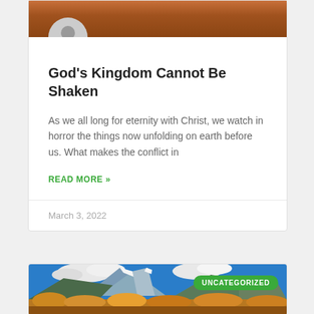[Figure (photo): Mountain landscape background at top of blog post card with autumn/rocky colors]
[Figure (illustration): Default avatar/profile icon - grey circle with person silhouette]
God's Kingdom Cannot Be Shaken
As we all long for eternity with Christ, we watch in horror the things now unfolding on earth before us. What makes the conflict in
READ MORE »
March 3, 2022
[Figure (photo): Mountain landscape with snow-capped peaks, blue sky with clouds, and autumn foliage in foreground]
UNCATEGORIZED